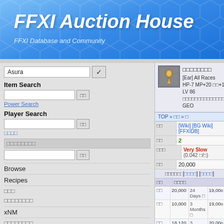FFXI Auction House — FFXI Database and Community
Asura [dropdown]
Item Search
Power Search
Player Search
Browse
Recipes
xNM
Database
[Japanese characters] (item name)
[Ear] All Races
HP-7 MP+20 []+15
LV 86 [characters] GEO
TOP » [] » []
| Key | Value |
| --- | --- |
| [] | [Wiki] [BG Wiki] [FFXIDB] |
| [] | 2 |
| [][] | Very Slow (0.042 [/]) |
| [] | 20,000 |
[][][]: [[]] [[]]
| [] | [][][][] |
| --- | --- |
| [] | 20,000 | 24 Days [] | 19,000 |
| [] | 10,000 | 3 Months [] | 19,000 |
| [] | 18,120 | 3 Months [] | 20,000 |
| [][][] | 19,000 | 3 Months [] | 20,000 |